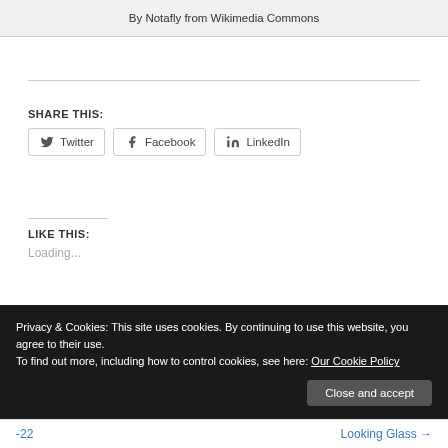By Notafly from Wikimedia Commons
SHARE THIS:
Twitter
Facebook
LinkedIn
LIKE THIS:
Loading...
Privacy & Cookies: This site uses cookies. By continuing to use this website, you agree to their use.
To find out more, including how to control cookies, see here: Our Cookie Policy
-22    Looking Glass →